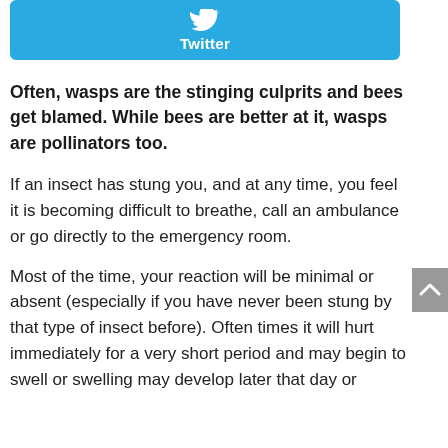[Figure (logo): Twitter social share button — light blue rounded rectangle with Twitter bird icon and 'Twitter' label in white]
Often, wasps are the stinging culprits and bees get blamed. While bees are better at it, wasps are pollinators too.
If an insect has stung you, and at any time, you feel it is becoming difficult to breathe, call an ambulance or go directly to the emergency room.
Most of the time, your reaction will be minimal or absent (especially if you have never been stung by that type of insect before). Often times it will hurt immediately for a very short period and may begin to swell or swelling may develop later that day or